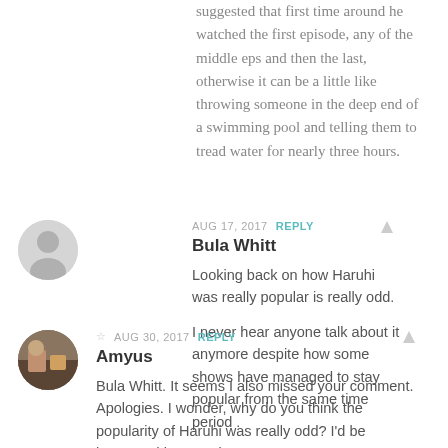suggested that first time around he watched the first episode, any of the middle eps and then the last, otherwise it can be a little like throwing someone in the deep end of a swimming pool and telling them to tread water for nearly three hours.
AUG 17, 2017  REPLY
Bula Whitt
Looking back on how Haruhi was really popular is really odd.

I never hear anyone talk about it anymore despite how some shows have managed to stay popular from the same time period .
☆ AUG 30, 2017  REPLY
Amyus
Bula Whitt. It seems I also missed your comment. Apologies. I wonder, why do you think the popularity of Haruhi was really odd? I'd be interested in your views.